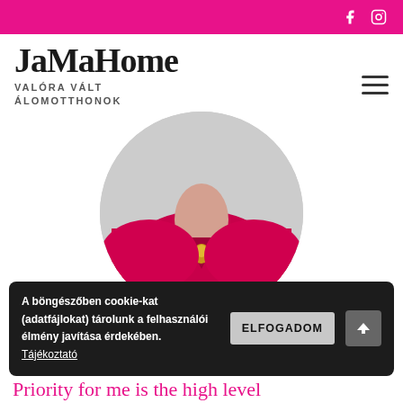JaMaHome — VALÓRA VÁLT ÁLOMOTTHONOK (with social icons: Facebook, Instagram)
[Figure (photo): Circular cropped photo of a woman in a red/pink dress with a gold necklace pendant, upper torso and neck visible]
I consider myself lucky, growing up surrounded by a creative environment which taught me the value that art brings to our lives, and now I strive for the perfect interior designs, both for homes and work places.
A böngészőben cookie-kat (adatfájlokat) tárolunk a felhasználói élmény javítása érdekében. Tájékoztató  ELFOGADOM
Priority for me is the high level